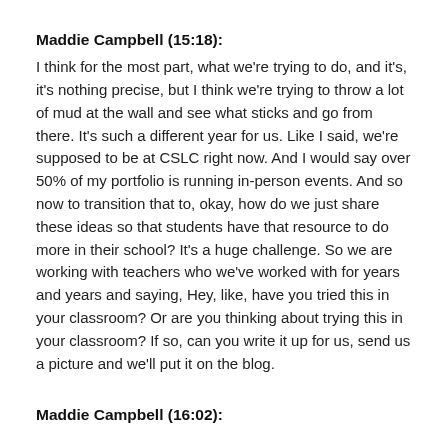Maddie Campbell (15:18):
I think for the most part, what we're trying to do, and it's, it's nothing precise, but I think we're trying to throw a lot of mud at the wall and see what sticks and go from there. It's such a different year for us. Like I said, we're supposed to be at CSLC right now. And I would say over 50% of my portfolio is running in-person events. And so now to transition that to, okay, how do we just share these ideas so that students have that resource to do more in their school? It's a huge challenge. So we are working with teachers who we've worked with for years and years and saying, Hey, like, have you tried this in your classroom? Or are you thinking about trying this in your classroom? If so, can you write it up for us, send us a picture and we'll put it on the blog.
Maddie Campbell (16:02):